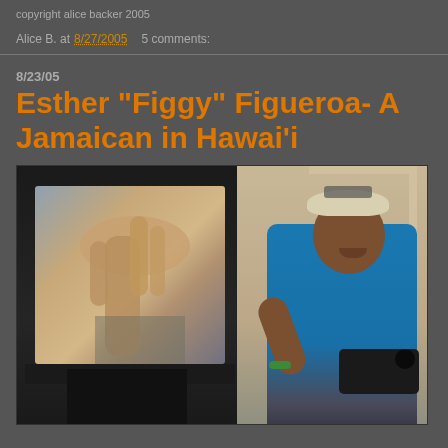copyright alice backer 2005
Alice B. at 8/27/2005   5 comments:
8/23/05
Esther "Figgy" Figueroa- A Jamaican in Hawai'i
[Figure (photo): A woman wearing a white bandana and blue t-shirt, smiling and holding a video camera. To her left is a CRT television displaying a close-up image of a hand or fork-like shape. The photo is taken indoors.]